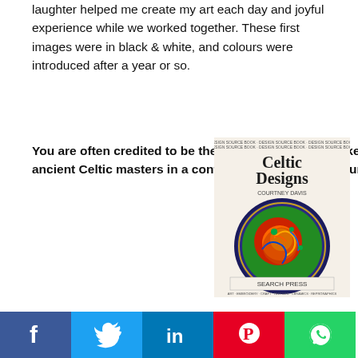laughter helped me create my art each day and joyful experience while we worked together. These first images were in black & white, and colours were introduced after a year or so.
You are often credited to be the artist who has re-awakened the artwork of the ancient Celtic masters in a contemporary style that is uniquely his own...
[Figure (illustration): Book cover of 'Celtic Designs' by Courtney Davis, published by Search Press. Features a circular Celtic design with an animal (hound/fox) in a colorful spiral pattern on a dark background.]
I guess my success has been that I have always tried to experiment with the art and was lucky to be able to mix art styles in some of my early books. I was later commissioned to work on book themes that needed me to re-create historic artefacts. I was pleased to have been asked by the British Library to demonstrate my art while the Art Of Matter exhibition was running and I saw for the first time since starting